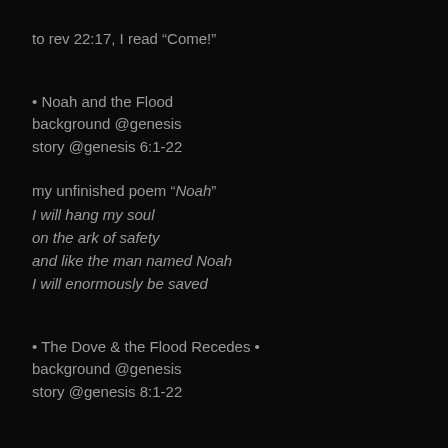to rev 22:17, I read “Come!”
• Noah and the Flood
background @genesis
story @genesis 6:1-22
my unfinished poem “Noah”
I will hang my soul
on the ark of safety
and like the man named Noah
I will enormously be saved
• The Dove & the Flood Recedes •
background @genesis
story @genesis 8:1-22